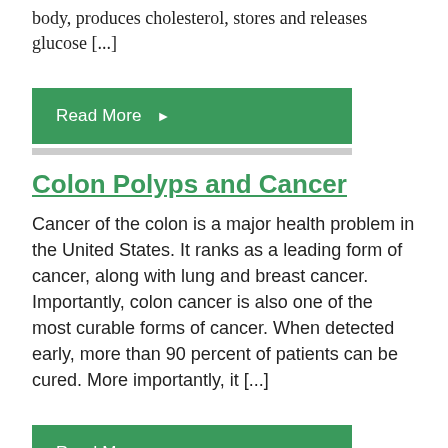body, produces cholesterol, stores and releases glucose [...]
Read More ▶
Colon Polyps and Cancer
Cancer of the colon is a major health problem in the United States. It ranks as a leading form of cancer, along with lung and breast cancer. Importantly, colon cancer is also one of the most curable forms of cancer. When detected early, more than 90 percent of patients can be cured. More importantly, it [...]
Read More ▶
Constipation